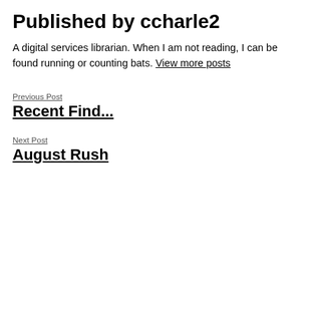Published by ccharle2
A digital services librarian. When I am not reading, I can be found running or counting bats. View more posts
Previous Post
Recent Find...
Next Post
August Rush